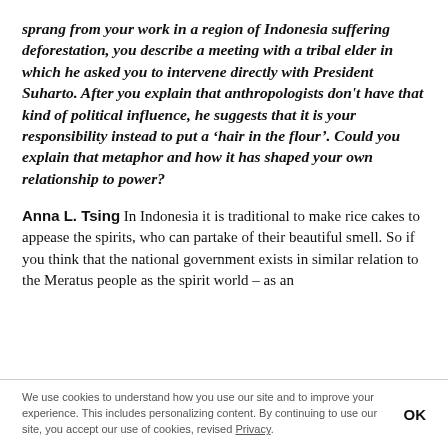sprang from your work in a region of Indonesia suffering deforestation, you describe a meeting with a tribal elder in which he asked you to intervene directly with President Suharto. After you explain that anthropologists don't have that kind of political influence, he suggests that it is your responsibility instead to put a 'hair in the flour'. Could you explain that metaphor and how it has shaped your own relationship to power?
Anna L. Tsing In Indonesia it is traditional to make rice cakes to appease the spirits, who can partake of their beautiful smell. So if you think that the national government exists in similar relation to the Meratus people as the spirit world – as an
We use cookies to understand how you use our site and to improve your experience. This includes personalizing content. By continuing to use our site, you accept our use of cookies, revised Privacy. OK